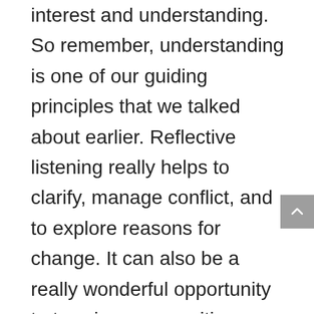interest and understanding. So remember, understanding is one of our guiding principles that we talked about earlier. Reflective listening really helps to clarify, manage conflict, and to explore reasons for change. It can also be a really wonderful opportunity to toss in some positive affirmations as well. So reflective listening encompasses being interested in what the patient has to say and having a desire to truly understand how the patient sees things with their perspective. It's certainly a skill that takes time to develop. It can become really easy for beginners to get trapped in what becomes an interrogation,